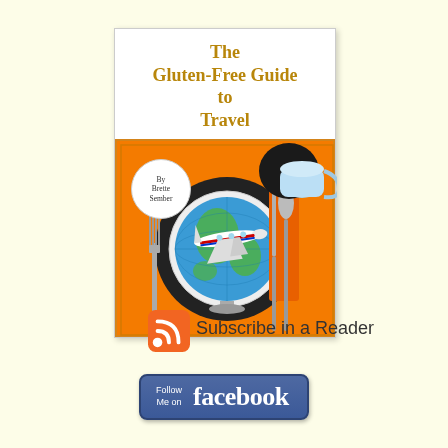[Figure (illustration): Book cover for 'The Gluten-Free Guide to Travel' by Brette Sember. Top half: white background with title in gold serif font. Bottom half: orange background showing a dinner place setting with a globe/plate, fork on left, knife and spoon on right, a dark round charger, a blue coffee cup in upper right, and a cartoon airplane flying over the globe. Author name in a white circle top-left.]
[Figure (illustration): Orange RSS feed icon (rounded square with white wifi-like signal waves)]
Subscribe in a Reader
[Figure (illustration): Blue Facebook 'Follow Me on facebook' button with rounded corners]